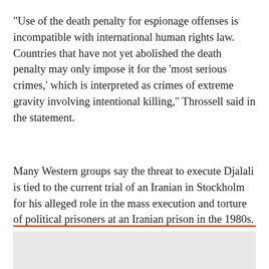"Use of the death penalty for espionage offenses is incompatible with international human rights law. Countries that have not yet abolished the death penalty may only impose it for the 'most serious crimes,' which is interpreted as crimes of extreme gravity involving intentional killing," Throssell said in the statement.
Many Western groups say the threat to execute Djalali is tied to the current trial of an Iranian in Stockholm for his alleged role in the mass execution and torture of political prisoners at an Iranian prison in the 1980s.
[Figure (photo): Partially visible image below orange horizontal rule, appears to be a gray-toned photograph, content not fully visible]